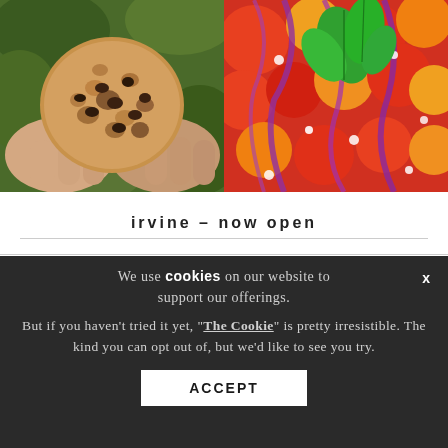[Figure (photo): Two food photos side by side: left shows hands holding a large chocolate chip cookie against a leafy green background; right shows a colorful Mediterranean salad with tomatoes, red onion, basil, feta cheese.]
irvine – now open
We use cookies on our website to support our offerings.

But if you haven't tried it yet, "The Cookie" is pretty irresistible. The kind you can opt out of, but we'd like to see you try.
ACCEPT